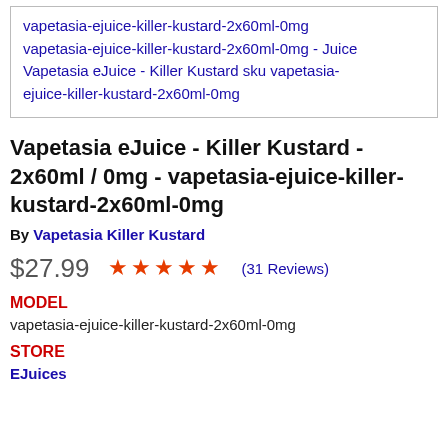vapetasia-ejuice-killer-kustard-2x60ml-0mg - Juice Vapetasia eJuice - Killer Kustard sku vapetasia-ejuice-killer-kustard-2x60ml-0mg
Vapetasia eJuice - Killer Kustard - 2x60ml / 0mg - vapetasia-ejuice-killer-kustard-2x60ml-0mg
By Vapetasia Killer Kustard
$27.99  ★★★★★ (31 Reviews)
MODEL
vapetasia-ejuice-killer-kustard-2x60ml-0mg
STORE
EJuices